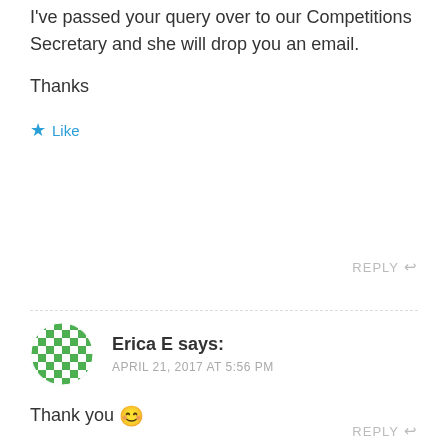I've passed your query over to our Competitions Secretary and she will drop you an email.
Thanks
★ Like
REPLY ↩
Erica E says:
APRIL 21, 2017 AT 5:56 PM
Thank you 😊
★ Like
REPLY ↩